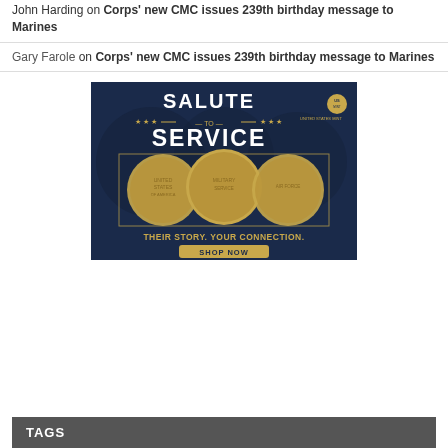John Harding on Corps' new CMC issues 239th birthday message to Marines
Gary Farole on Corps' new CMC issues 239th birthday message to Marines
[Figure (illustration): US Mint 'Salute to Service' advertisement banner with dark navy blue background showing three gold commemorative coins and text: SALUTE TO SERVICE, THEIR STORY. YOUR CONNECTION., SHOP NOW button]
TAGS